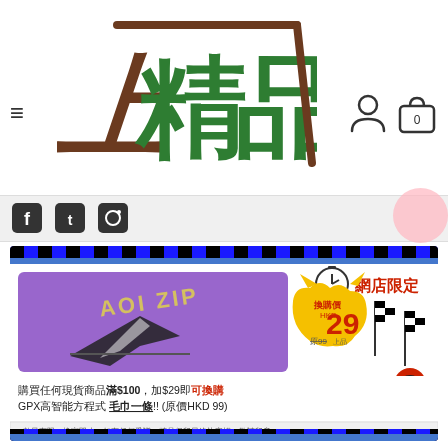[Figure (logo): 上精品 store logo with Chinese handwritten characters in brown and green]
[Figure (infographic): Promotional banner: AOI ZIP product, exchange price HKD 29 (original HKD 99), buy any in-stock item over $100 add $29 to exchange GPX high-intelligence formula towel. Network store exclusive. Racing car mascot with checkered flags.]